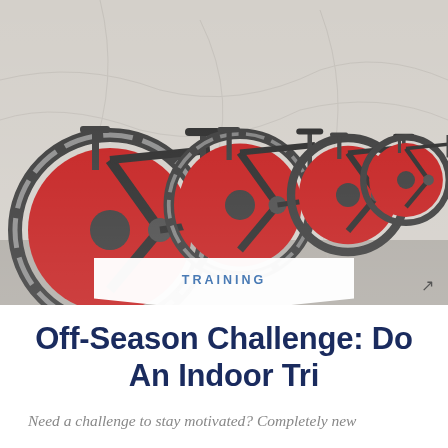[Figure (photo): Row of black and red spinning/indoor cycling bikes in a gym, viewed from a low angle perspective. The bikes have red flywheel covers and chrome accents. The background shows a white wall with some graphics.]
TRAINING
Off-Season Challenge: Do An Indoor Tri
Need a challenge to stay motivated? Completely new